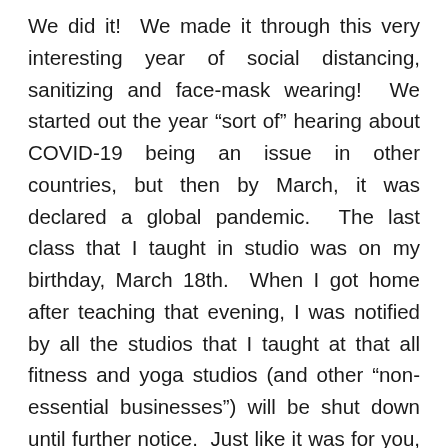We did it!  We made it through this very interesting year of social distancing, sanitizing and face-mask wearing!  We started out the year “sort of” hearing about COVID-19 being an issue in other countries, but then by March, it was declared a global pandemic.  The last class that I taught in studio was on my birthday, March 18th.  When I got home after teaching that evening, I was notified by all the studios that I taught at that all fitness and yoga studios (and other “non-essential businesses”) will be shut down until further notice.  Just like it was for you, the rest of March and April were surreal.  We were no longer able to worship as a congregation inside the church building, everybody and their mothers created a Zoom account, everything went virtual.  Our lives, it seemed, were turned upside down.  I think a lot of us were waiting and hoping that things would “go back to normal” within a few months,